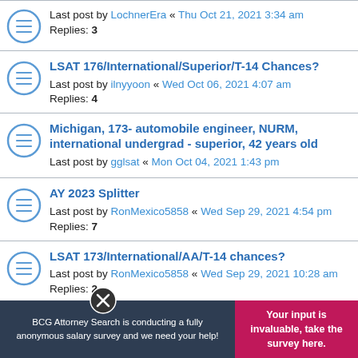Last post by LochnerEra « Thu Oct 21, 2021 3:34 am
Replies: 3
LSAT 176/International/Superior/T-14 Chances?
Last post by ilnyyoon « Wed Oct 06, 2021 4:07 am
Replies: 4
Michigan, 173- automobile engineer, NURM, international undergrad - superior, 42 years old
Last post by gglsat « Mon Oct 04, 2021 1:43 pm
AY 2023 Splitter
Last post by RonMexico5858 « Wed Sep 29, 2021 4:54 pm
Replies: 7
LSAT 173/International/AA/T-14 chances?
Last post by RonMexico5858 « Wed Sep 29, 2021 10:28 am
Replies: 2
3.83 GPA/ 165 LSAT / nURM
Last post by RonMexico5858 « Wed Sep 29, 2021
BCG Attorney Search is conducting a fully anonymous salary survey and we need your help!
Your input is invaluable, take the survey here.